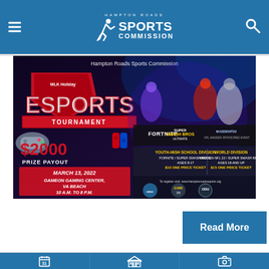Hampton Roads Sports Commission
[Figure (infographic): MLK Holiday Esports Tournament promotional banner. $2000 Prize Payout. March 13, 2022, GameOn Gaming Center, VA Beach, 10 A.M. to 8 P.M. Youth-High School Division: Fornite/Super Smash Bros., Ages 8-17, $10 One Price Ticket. World Division: Madden NFL 22/Super Smash Bros., Ages 18 and Up, $15 One Price Ticket. Games shown: Fortnite, Super Smash Bros. Ultimate, Madden 22. Sponsors: Hampton Roads Sports Commission, GameOn Gaming Center, ODU.]
Read More
Navigation icons: calendar, venue/stadium, camera